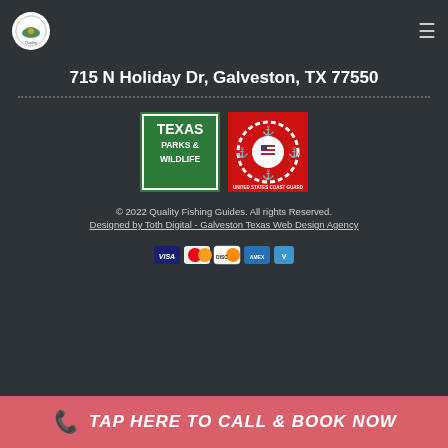Quality Fishing Guides logo and hamburger menu navigation
715 N Holiday Dr, Galveston, TX 77550
[Figure (logo): Texas Parks & Wildlife logo (green square) and United States Coast Guard logo (red square with anchor emblem)]
© 2022 Quality Fishing Guides. All rights reserved. Designed by Toth Digital - Galveston Texas Web Design Agency
[Figure (other): Payment method icons: Visa, Mastercard, Discover, American Express, Venmo]
TAP HERE TO CALL & BOOK NOW